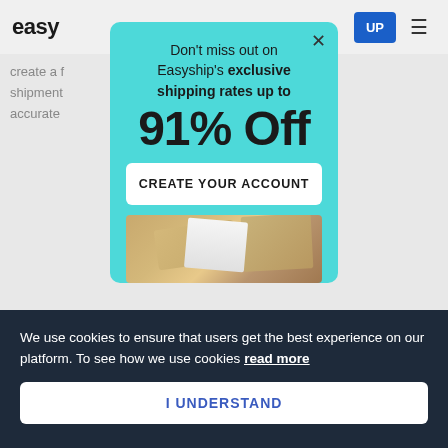[Figure (screenshot): Website page background showing Easyship logo, navigation bar with UP button and hamburger menu, and partially visible body text]
[Figure (infographic): Modal popup with cyan/teal background promoting Easyship exclusive shipping rates up to 91% Off with a CREATE YOUR ACCOUNT button and a decorative box image at the bottom]
Don't miss out on Easyship's exclusive shipping rates up to
91% Off
CREATE YOUR ACCOUNT
We use cookies to ensure that users get the best experience on our platform. To see how we use cookies read more
I UNDERSTAND